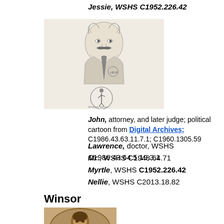Jessie, WSHS C1952.226.42
[Figure (illustration): Black and white political cartoon/sketch of a man with a mustache in a suit, with a smaller circular vignette of a figure below]
John, attorney, and later judge; political cartoon from Digital Archives; C1986.43.63.11.7.1; C1960.1305.59
Lawrence, doctor, WSHS C1986.43.64.5.19.3.1
Mr., WSHS C1948.64.71
Myrtle, WSHS C1952.226.42
Nellie, WSHS C2013.18.82
Winsor
[Figure (photo): Sepia-toned oval portrait photograph of a young person]